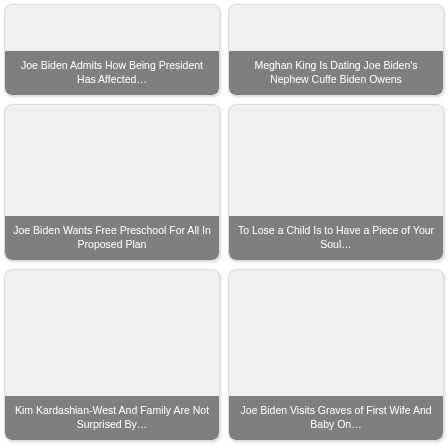[Figure (screenshot): Article thumbnail card: Joe Biden Admits How Being President Has Affected...]
[Figure (screenshot): Article thumbnail card: Meghan King Is Dating Joe Biden's Nephew Cuffe Biden Owens]
[Figure (screenshot): Article thumbnail card: Joe Biden Wants Free Preschool For All In Proposed Plan]
[Figure (screenshot): Article thumbnail card: To Lose a Child Is to Have a Piece of Your Soul...]
[Figure (screenshot): Article thumbnail card: Kim Kardashian-West And Family Are Not Surprised By...]
[Figure (screenshot): Article thumbnail card: Joe Biden Visits Graves of First Wife And Baby On...]
About Mamas Uncut